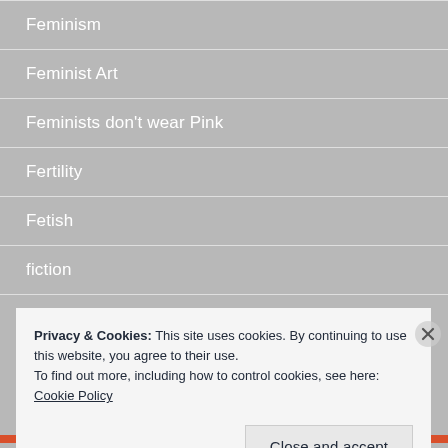Feminism
Feminist Art
Feminists don't wear Pink
Fertility
Fetish
fiction
Privacy & Cookies: This site uses cookies. By continuing to use this website, you agree to their use.
To find out more, including how to control cookies, see here: Cookie Policy
Close and accept